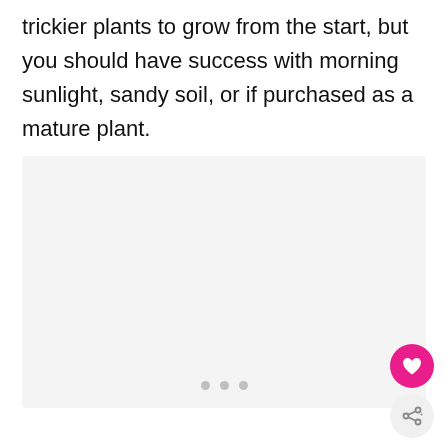trickier plants to grow from the start, but you should have success with morning sunlight, sandy soil, or if purchased as a mature plant.
[Figure (photo): Light gray image placeholder with three small gray dots at the bottom center, indicating a loading or empty image area.]